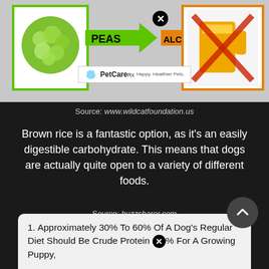[Figure (infographic): Infographic showing allowed foods (peas with green arrow) and forbidden foods (alcohol with orange arrow and X symbol). PetCareRx logo visible at bottom of image.]
Source: www.wildcatfoundation.us
Brown rice is a fantastic option, as it’s an easily digestible carbohydrate. This means that dogs are actually quite open to a variety of different foods.
Source: buzzsharer.com
Brown rice is a fantastic option, as it’s an easily digestible carbohydrate. Dogs can eat green beans cooked or raw.
1. Approximately 30% To 60% Of A Dog’s Regular Diet Should Be Crude Protein ⓧ% For A Growing Puppy,